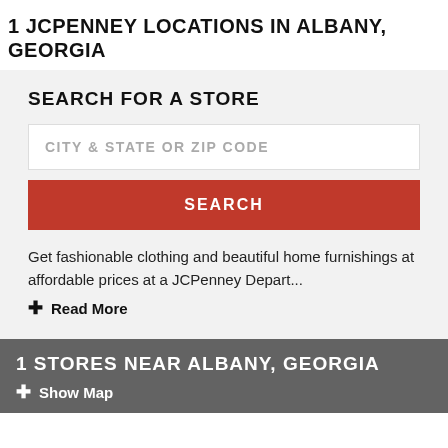1 JCPENNEY LOCATIONS IN ALBANY, GEORGIA
SEARCH FOR A STORE
CITY & STATE OR ZIP CODE
SEARCH
Get fashionable clothing and beautiful home furnishings at affordable prices at a JCPenney Depart...
+ Read More
1 STORES NEAR ALBANY, GEORGIA
+ Show Map